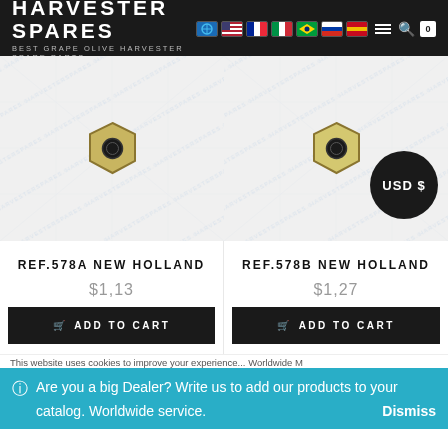HARVESTER SPARES — BEST GRAPE OLIVE HARVESTER SPARE PARTS
[Figure (photo): Hex nut part photo for REF.578A on watermarked background]
REF.578A NEW HOLLAND
$1,13
ADD TO CART
[Figure (photo): Hex nut part photo for REF.578B on watermarked background with USD $ badge overlay]
REF.578B NEW HOLLAND
$1,27
ADD TO CART
This website uses cookies... Worldwide...
ⓘ Are you a big Dealer? Write us to add our products to your catalog. Worldwide service. Dismiss